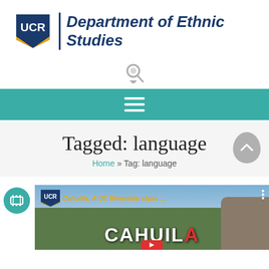[Figure (logo): UCR Department of Ethnic Studies logo with UCR shield and italic bold department name]
[Figure (other): Search icon (magnifying glass with location pin style)]
[Figure (other): Teal navigation bar with hamburger menu icon (three white horizontal lines)]
Tagged: language
Home » Tag: language
[Figure (screenshot): Video thumbnail showing UCR Cahuilla: A UC Riverside class... YouTube video with CAHUILLA text overlay and landscape background. Teal film icon badge on left.]